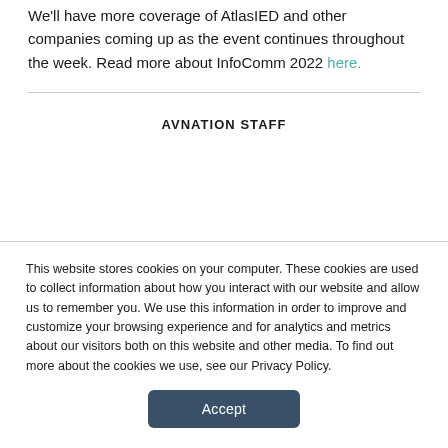We'll have more coverage of AtlasIED and other companies coming up as the event continues throughout the week. Read more about InfoComm 2022 here.
AVNATION STAFF
This website stores cookies on your computer. These cookies are used to collect information about how you interact with our website and allow us to remember you. We use this information in order to improve and customize your browsing experience and for analytics and metrics about our visitors both on this website and other media. To find out more about the cookies we use, see our Privacy Policy.